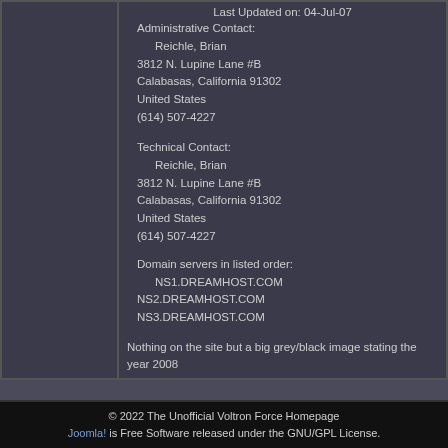Last Updated on: 04-Jul-07
Administrative Contact:
Reichle, Brian
3812 N. Lupine Lane #B
Calabasas, California 91302
United States
(614) 507-4227
Technical Contact:
Reichle, Brian
3812 N. Lupine Lane #B
Calabasas, California 91302
United States
(614) 507-4227
Domain servers in listed order:
NS1.DREAMHOST.COM
NS2.DREAMHOST.COM
NS3.DREAMHOST.COM
Nothing on the site but a big grey/black image stating the year 2008
Something to keep an eye on.
Read more...
<< Start < Prev 1 2
Results 6
© 2022 The Unofficial Voltron Force Homepage
Joomla! is Free Software released under the GNU/GPL License.